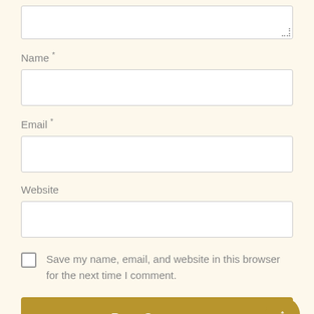[Figure (screenshot): Partial textarea (cropped at top) with resize handle at bottom-right corner]
Name *
[Figure (screenshot): Empty text input field for Name]
Email *
[Figure (screenshot): Empty text input field for Email]
Website
[Figure (screenshot): Empty text input field for Website]
Save my name, email, and website in this browser for the next time I comment.
Post Comment